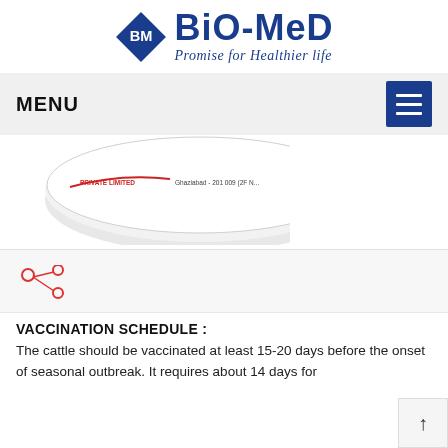[Figure (logo): Bio-Med logo with blue diamond BM icon and text 'BiO-MeD' with tagline 'Promise for Healthier life']
MENU
[Figure (photo): Product image of a white circular/disc-shaped medical product (vaccine container lid) with text 'PRIVATE LIMITED Ghaziabad - 201 009 (2F N...']
[Figure (other): Share/social network icon (red nodes connected graph)]
VACCINATION SCHEDULE :
The cattle should be vaccinated at least 15-20 days before the onset of seasonal outbreak. It requires about 14 days for